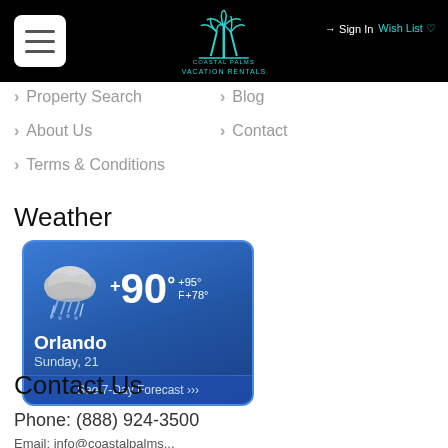Coastal Palms Vacation Rentals — Sign In | Wish List
> Property Search
> Blog
> About Us
> Contact
> Terms & Conditions
Weather
[Figure (infographic): Weather widget showing Orlando, Sunday 21. Temperature +90°F with high +95° and low +78°. Cloud and rain icon. Button: See 7-Day Forecast.]
Contact Us
Phone: (888) 924-3500
Email: [partially visible]